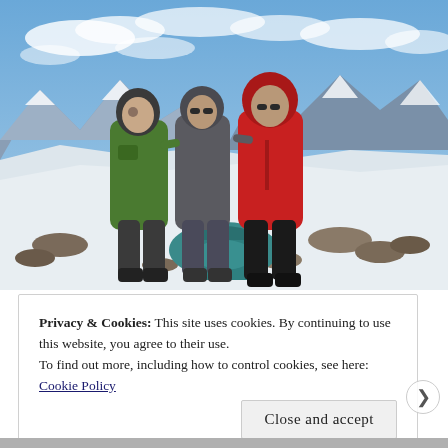[Figure (photo): Three people in winter hiking gear (one in green jacket, one in gray, one in red) standing on a snowy mountain summit with dramatic snow-covered mountain ranges in the background under a partly cloudy blue sky. Backpacks are on the ground in front of them.]
Privacy & Cookies: This site uses cookies. By continuing to use this website, you agree to their use.
To find out more, including how to control cookies, see here:
Cookie Policy
Close and accept